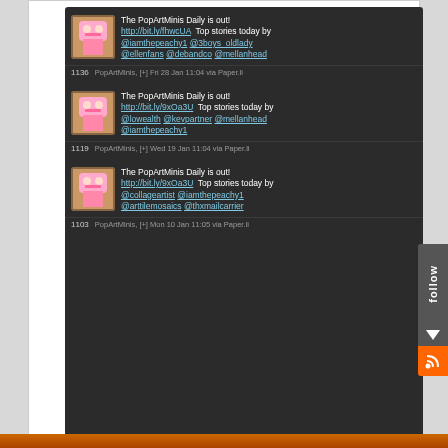[Figure (screenshot): Twitter feed showing PopArtMinis Daily tweets with avatars, links, and mentions. Three tweets visible: Fri 28 Jan 11:04, Wed 19 Jan 11:04, Mon 10 Jan 11:05, all via Paper.li. Followed by a Paper.li screenshot showing 'The meredith blumoff Daily'.]
[Figure (screenshot): Paper.li newspaper screenshot showing 'The meredith blumoff Daily' with date Tuesday Apr 19 2011]
[Figure (infographic): Follow sidebar with text 'follow' written vertically, a downward arrow, and an orange RSS feed icon]